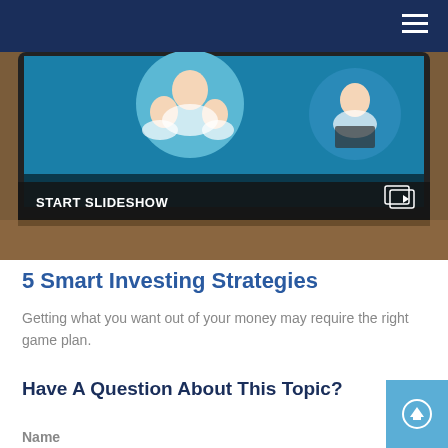[Figure (screenshot): Screenshot of a tablet showing a financial/family slideshow. A 'START SLIDESHOW' button overlay appears at the bottom of the image with a slideshow icon.]
5 Smart Investing Strategies
Getting what you want out of your money may require the right game plan.
Have A Question About This Topic?
Name